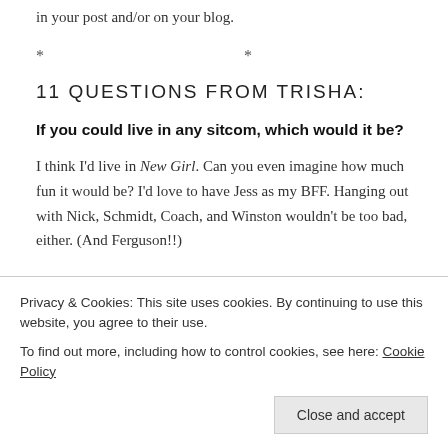in your post and/or on your blog.
* * *
11 QUESTIONS FROM TRISHA:
If you could live in any sitcom, which would it be?
I think I'd live in New Girl. Can you even imagine how much fun it would be? I'd love to have Jess as my BFF. Hanging out with Nick, Schmidt, Coach, and Winston wouldn't be too bad, either. (And Ferguson!!)
If money were no object, where would you be living?
Privacy & Cookies: This site uses cookies. By continuing to use this website, you agree to their use.
To find out more, including how to control cookies, see here: Cookie Policy
Close and accept
would it be?